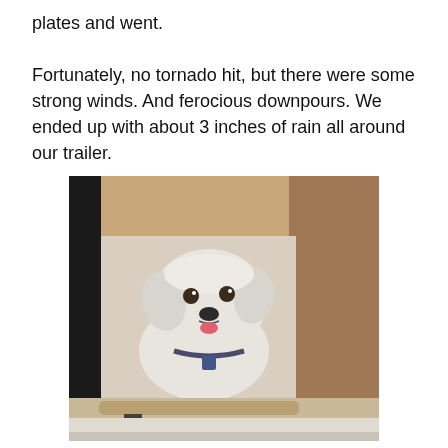plates and went.

Fortunately, no tornado hit, but there were some strong winds. And ferocious downpours. We ended up with about 3 inches of rain all around our trailer.
[Figure (photo): A fluffy white small dog with tongue slightly out, looking through a glass door or window of a trailer/RV, with a handrail visible at the bottom.]